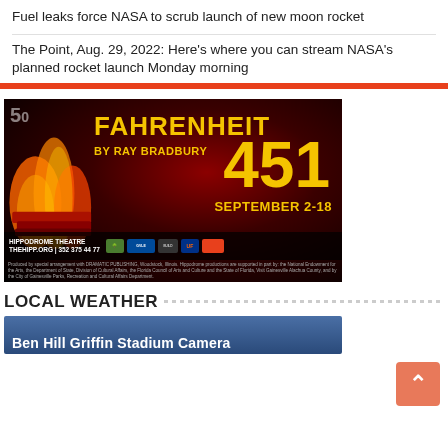Fuel leaks force NASA to scrub launch of new moon rocket
The Point, Aug. 29, 2022: Here's where you can stream NASA's planned rocket launch Monday morning
[Figure (illustration): Advertisement for Fahrenheit 451 by Ray Bradbury, Hippodrome Theatre, September 2-18. Bold yellow text on dark fiery background with burning books.]
LOCAL WEATHER
[Figure (photo): Ben Hill Griffin Stadium Camera — partial text visible at bottom of page, dark blue background]